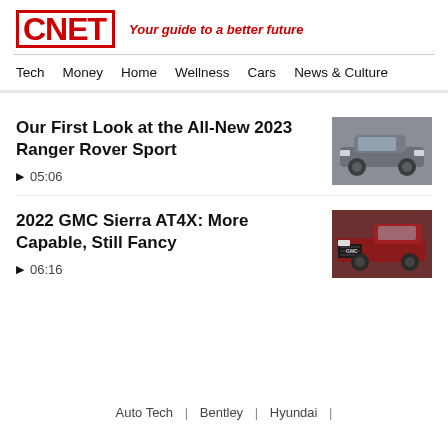CNET — Your guide to a better future
Tech  Money  Home  Wellness  Cars  News & Culture
Our First Look at the All-New 2023 Ranger Rover Sport
▶  05:06
[Figure (photo): Front view of the 2023 Range Rover Sport in silver/grey, studio-style image]
2022 GMC Sierra AT4X: More Capable, Still Fancy
▶  06:16
[Figure (photo): Side/front view of 2022 GMC Sierra AT4X in dark red, outdoor setting]
Auto Tech  |  Bentley  |  Hyundai  |